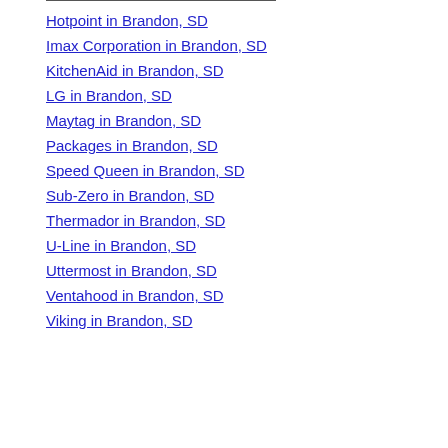Hotpoint in Brandon, SD
Imax Corporation in Brandon, SD
KitchenAid in Brandon, SD
LG in Brandon, SD
Maytag in Brandon, SD
Packages in Brandon, SD
Speed Queen in Brandon, SD
Sub-Zero in Brandon, SD
Thermador in Brandon, SD
U-Line in Brandon, SD
Uttermost in Brandon, SD
Ventahood in Brandon, SD
Viking in Brandon, SD